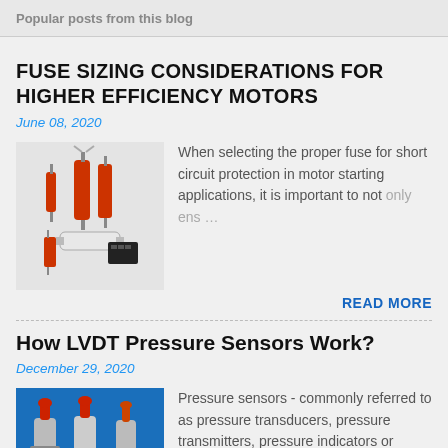Popular posts from this blog
FUSE SIZING CONSIDERATIONS FOR HIGHER EFFICIENCY MOTORS
June 08, 2020
[Figure (photo): Image of various fuses and circuit protection components]
When selecting the proper fuse for short circuit protection in motor starting applications, it is important to not only ens...
READ MORE
How LVDT Pressure Sensors Work?
December 29, 2020
[Figure (photo): Image of pressure sensors/transducers on blue background]
Pressure sensors - commonly referred to as pressure transducers, pressure transmitters, pressure indicators or pressure switches